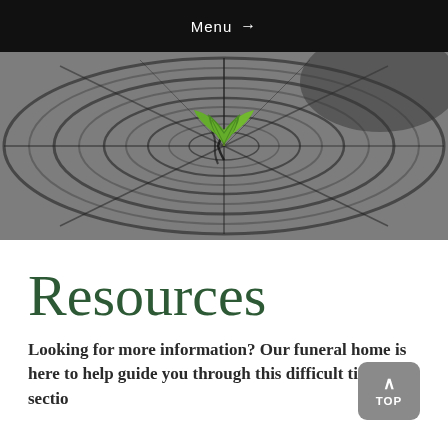Menu →
[Figure (photo): Aerial view of a tree stump cross-section with visible growth rings and a small green seedling sprouting from the center, photographed in black and white tones with the plant in vibrant green.]
Resources
Looking for more information? Our funeral home is here to help guide you through this difficult time. This sectio...